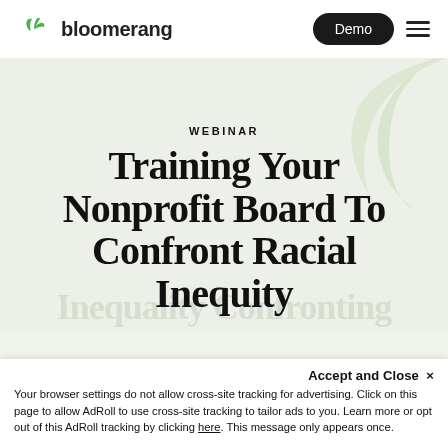bloomerang | Demo
WEBINAR
Training Your Nonprofit Board To Confront Racial Inequity
Accept and Close ×
Your browser settings do not allow cross-site tracking for advertising. Click on this page to allow AdRoll to use cross-site tracking to tailor ads to you. Learn more or opt out of this AdRoll tracking by clicking here. This message only appears once.